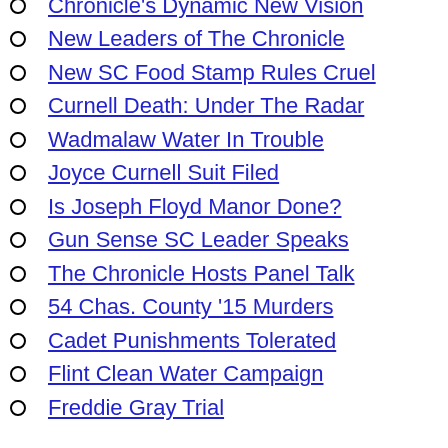AI Chas. Homicides Rise
Chronicle's Dynamic New Vision
New Leaders of The Chronicle
New SC Food Stamp Rules Cruel
Curnell Death: Under The Radar
Wadmalaw Water In Trouble
Joyce Curnell Suit Filed
Is Joseph Floyd Manor Done?
Gun Sense SC Leader Speaks
The Chronicle Hosts Panel Talk
54 Chas. County '15 Murders
Cadet Punishments Tolerated
Flint Clean Water Campaign
Freddie Gray Trial